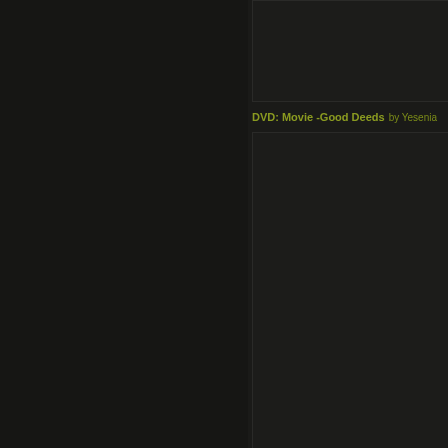[Figure (other): Dark left panel area]
[Figure (other): Dark right top panel area]
DVD: Movie -Good Deeds by Yesenia
[Figure (other): Dark right bottom panel area]